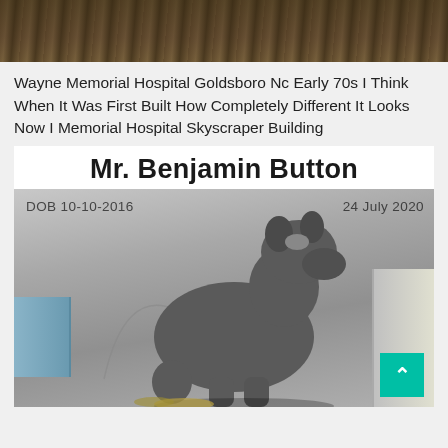[Figure (photo): Top portion of an outdoor photograph, showing dark foliage and ground, cropped at the top of the page]
Wayne Memorial Hospital Goldsboro Nc Early 70s I Think When It Was First Built How Completely Different It Looks Now I Memorial Hospital Skyscraper Building
Mr. Benjamin Button
[Figure (photo): Photo of a large gray/dark colored dog (appears to be a Cane Corso or similar breed) standing sideways and looking up, against a concrete wall background. Overlaid text reads: DOB 10-10-2016 and 24 July 2020. A teal scroll-to-top button is visible in the bottom right corner.]